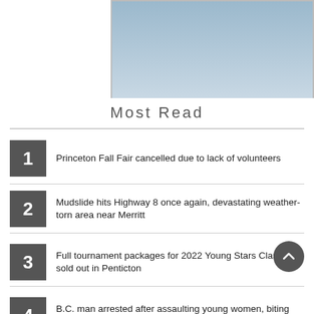[Figure (photo): Partial image visible in upper right area with blue-gray gradient sky]
Most Read
1. Princeton Fall Fair cancelled due to lack of volunteers
2. Mudslide hits Highway 8 once again, devastating weather-torn area near Merritt
3. Full tournament packages for 2022 Young Stars Classic sold out in Penticton
4. B.C. man arrested after assaulting young women, biting passengers on SkyTrain